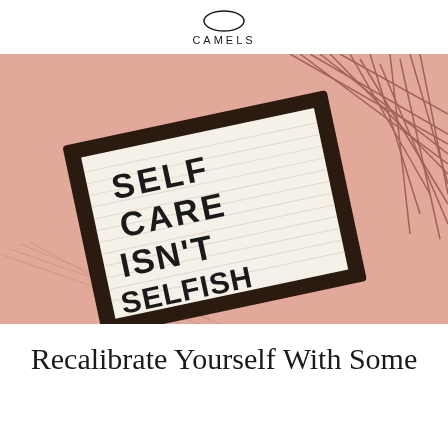CAMELS
[Figure (photo): A letter board on a pink background with plant shadows, reading 'SELF CARE ISN'T SELFISH' in black letters on a white striped board with a dark frame, tilted at an angle.]
Recalibrate Yourself With Some